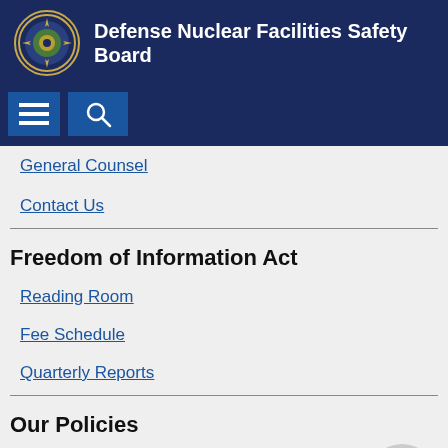Defense Nuclear Facilities Safety Board
General Counsel
Contact Us
Freedom of Information Act
Reading Room
Fee Schedule
Quarterly Reports
Our Policies
Policies